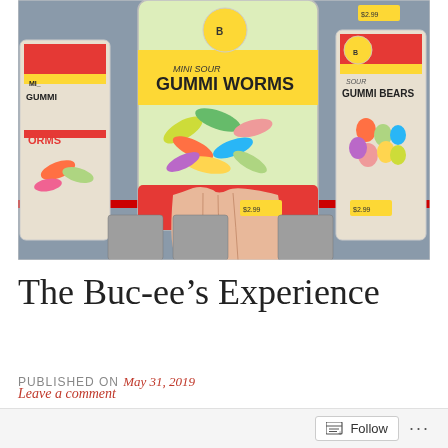[Figure (photo): Photo of a hand holding a bag of Mini Sour Gummi Worms in a store, with shelves of Buc-ee's branded candy bags including Sour Gummi Bears visible in the background, with price tags showing $2.99]
The Buc-ee’s Experience
PUBLISHED ON May 31, 2019
Leave a comment
Follow